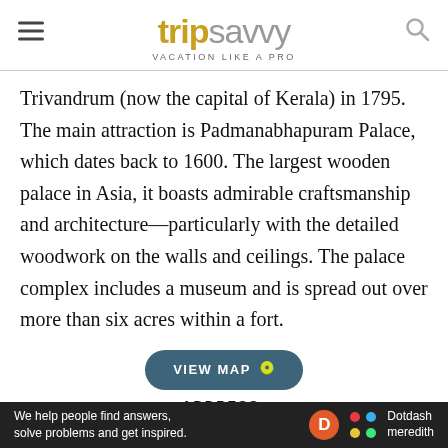tripsavvy VACATION LIKE A PRO
Trivandrum (now the capital of Kerala) in 1795. The main attraction is Padmanabhapuram Palace, which dates back to 1600. The largest wooden palace in Asia, it boasts admirable craftsmanship and architecture—particularly with the detailed woodwork on the walls and ceilings. The palace complex includes a museum and is spread out over more than six acres within a fort.
[Figure (other): VIEW MAP button with location pin icon]
ADDRESS:
Chakala, Thuckalay, Tamil Nadu 629175,
[Figure (other): Dotdash Meredith advertisement banner: We help people find answers, solve problems and get inspired.]